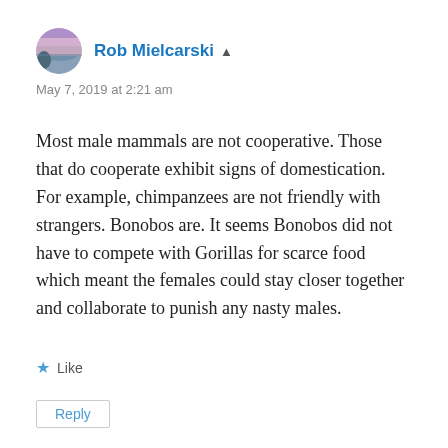[Figure (photo): Circular avatar photo of Rob Mielcarski showing a landscape/nature scene with purple and blue tones]
Rob Mielcarski ▲
May 7, 2019 at 2:21 am
Most male mammals are not cooperative. Those that do cooperate exhibit signs of domestication. For example, chimpanzees are not friendly with strangers. Bonobos are. It seems Bonobos did not have to compete with Gorillas for scarce food which meant the females could stay closer together and collaborate to punish any nasty males.
★ Like
Reply